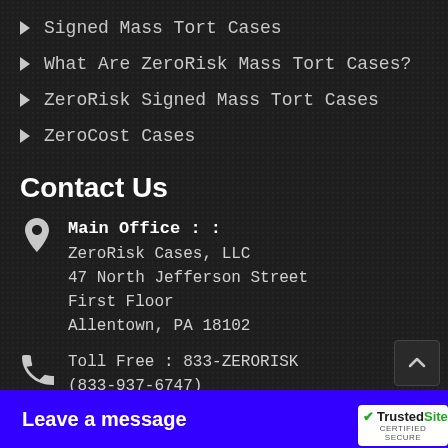Signed Mass Tort Cases
What Are ZeroRisk Mass Tort Cases?
ZeroRisk Signed Mass Tort Cases
ZeroCost Cases
Contact Us
Main Office : :
ZeroRisk Cases, LLC
47 North Jefferson Street
First Floor
Allentown, PA 18102
Toll Free : 833-ZERORISK
(833-937-6747)
Local: (484) 222-8330
marketing@zeroriskcases.com
Leave a message